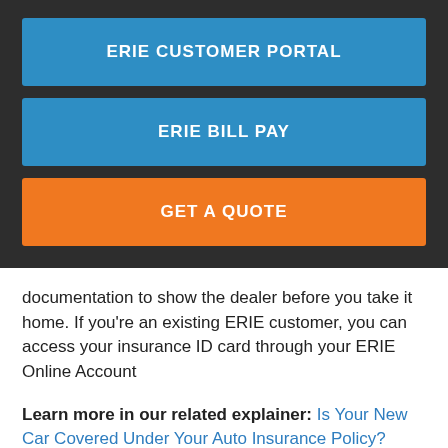ERIE CUSTOMER PORTAL
ERIE BILL PAY
GET A QUOTE
documentation to show the dealer before you take it home. If you're an existing ERIE customer, you can access your insurance ID card through your ERIE Online Account
Learn more in our related explainer: Is Your New Car Covered Under Your Auto Insurance Policy?